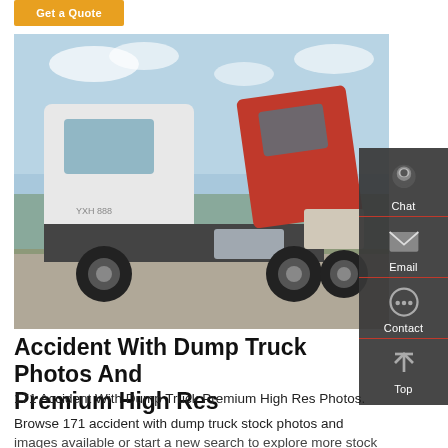[Figure (other): Orange/gold 'Get a Quote' button]
[Figure (photo): Photo of two large trucks, one white semi-truck and one red truck with hood tilted up, parked in an outdoor lot with blue sky background]
Accident With Dump Truck Photos And Premium High Res
171 Accident With Dump Truck Premium High Res Photos.
Browse 171 accident with dump truck stock photos and images available or start a new search to explore more stock